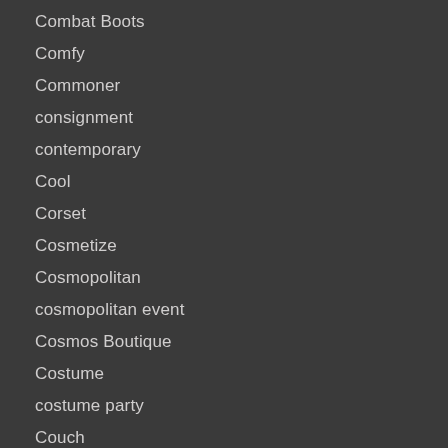Combat Boots
Comfy
Commoner
consignment
contemporary
Cool
Corset
Cosmetize
Cosmopolitan
cosmopolitan event
Cosmos Boutique
Costume
costume party
Couch